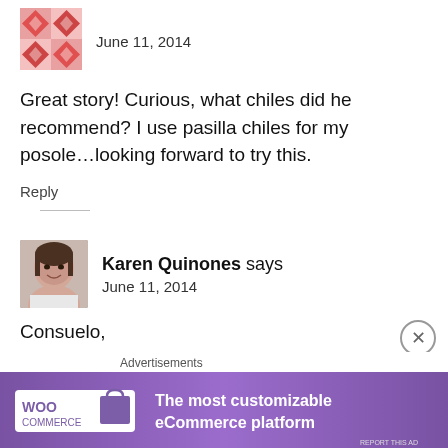[Figure (illustration): Pink geometric/diamond pattern avatar icon]
June 11, 2014
Great story! Curious, what chiles did he recommend? I use pasilla chiles for my posole…looking forward to try this.
Reply
[Figure (photo): Profile photo of Karen Quinones, a woman smiling]
Karen Quinones says
June 11, 2014
Consuelo,
Unfortunately, he did not tell me what chiles he uses. I think when I told him it was a posole recipe his mind went to the red chile pork posole. It's certainly the
Advertisements
[Figure (screenshot): WooCommerce advertisement banner: 'The most customizable eCommerce platform']